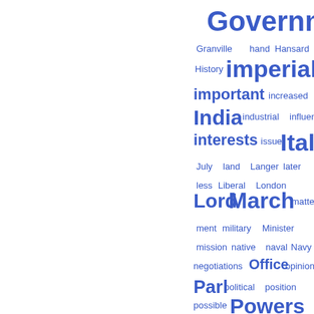[Figure (infographic): Word cloud of government/political terms in blue, with varying font sizes indicating frequency. Larger words include Government, imperial, India, Italy, March, Lord, Powers, Parl. Smaller words include Granville, hand, Hansard, History, important, increased, industrial, influence, interests, issue, July, land, Langer, later, less, Liberal, London, matter, ment, military, Minister, mission, native, naval, Navy, negotiations, Office, opinion, political, position, possible, principle, problem, proposal, protection, question, railway, refused, regarded, relations.]